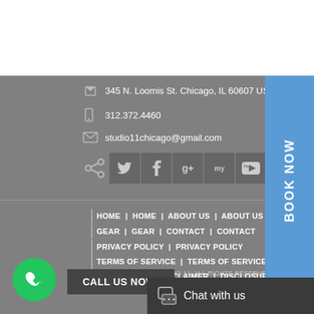345 N. Loomis St. Chicago, IL 60607 USA
312.372.4460
studio11chicago@gmail.com
[Figure (other): Social media icons row: share icon, Twitter, Facebook, Google+, MySpace, YouTube, Vimeo]
[Figure (other): BOOK NOW vertical blue button on right side]
HOME | HOME | ABOUT US | ABOUT US
GEAR | GEAR | CONTACT | CONTACT
PRIVACY POLICY | PRIVACY POLICY
TERMS OF SERVICE | TERMS OF SERVICE
DISCLAIMER | DISCLAIMER | DISCLOSURE
DISCLOSURE
COPYRIGHT © 2016 STUDIO 11. ALL RIGHTS RESERVED.
[Figure (other): Green circle phone call button]
CALL US NOW!
[Figure (other): Chat with us dark bar with chat icon]